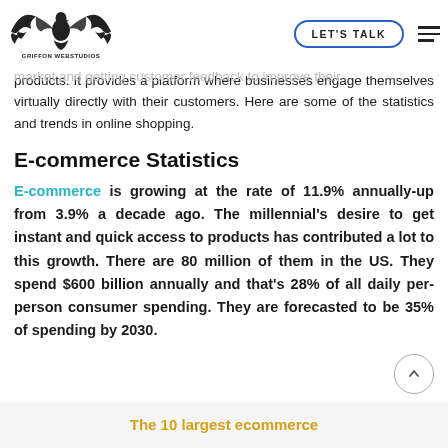GRIFFON WEBSTUDIOS | LET'S TALK
Online shopping has been one of the introduced … of the business … all, have … technology just to … between, market and getting customer feedback to improve their products. It provides a platform where businesses engage themselves virtually directly with their customers. Here are some of the statistics and trends in online shopping.
E-commerce Statistics
E-commerce is growing at the rate of 11.9% annually-up from 3.9% a decade ago. The millennial's desire to get instant and quick access to products has contributed a lot to this growth. There are 80 million of them in the US. They spend $600 billion annually and that's 28% of all daily per-person consumer spending. They are forecasted to be 35% of spending by 2030.
The 10 largest ecommerce